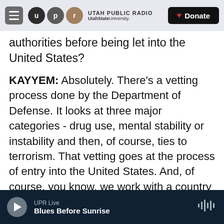Utah Public Radio — UtahStateUniversity. | Donate
authorities before being let into the United States?
KAYYEM: Absolutely. There's a vetting process done by the Department of Defense. It looks at three major categories - drug use, mental stability or instability and then, of course, ties to terrorism. That vetting goes at the process of entry into the United States. And, of course, you know, we work with a country like Saudi Arabia to learn more about him. That vetting is not recurring. And so once he's in, he's in.
So we're both dependent on Saudi Arabia in terms of the information they give us about that individual
UPR Live | Blues Before Sunrise